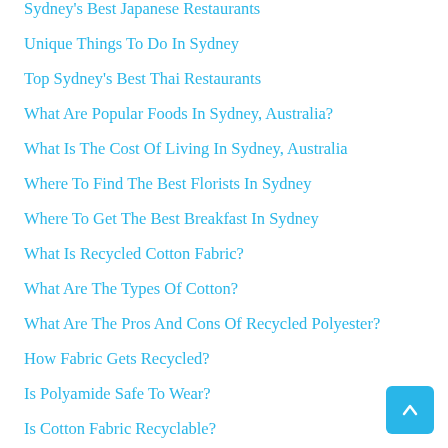Sydney's Best Japanese Restaurants
Unique Things To Do In Sydney
Top Sydney's Best Thai Restaurants
What Are Popular Foods In Sydney, Australia?
What Is The Cost Of Living In Sydney, Australia
Where To Find The Best Florists In Sydney
Where To Get The Best Breakfast In Sydney
What Is Recycled Cotton Fabric?
What Are The Types Of Cotton?
What Are The Pros And Cons Of Recycled Polyester?
How Fabric Gets Recycled?
Is Polyamide Safe To Wear?
Is Cotton Fabric Recyclable?
What Can You Do With Old Fabric?
What Is A Good Alternative To Nylon?